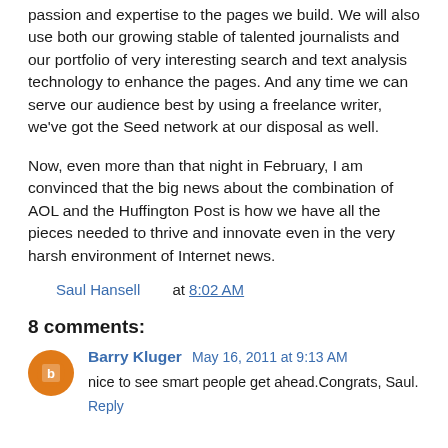passion and expertise to the pages we build. We will also use both our growing stable of talented journalists and our portfolio of very interesting search and text analysis technology to enhance the pages. And any time we can serve our audience best by using a freelance writer, we've got the Seed network at our disposal as well.
Now, even more than that night in February, I am convinced that the big news about the combination of AOL and the Huffington Post is how we have all the pieces needed to thrive and innovate even in the very harsh environment of Internet news.
Saul Hansell at 8:02 AM
8 comments:
Barry Kluger  May 16, 2011 at 9:13 AM
nice to see smart people get ahead.Congrats, Saul.
Reply